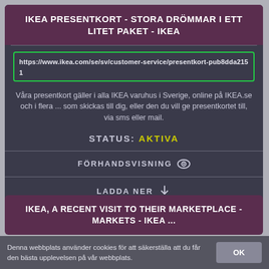IKEA PRESENTKORT - STORA DRÖMMAR I ETT LITET PAKET - IKEA
https://www.ikea.com/se/sv/customer-service/presentkort-pub8dda2151
Våra presentkort gäller i alla IKEA varuhus i Sverige, online på IKEA.se och i flera ... som skickas till dig, eller den du vill ge presentkortet till, via sms eller mail.
STATUS: AKTIVA
FÖRHANDSVISNING
LADDA NER
IKEA, A RECENT VISIT TO THEIR MARKETPLACE - MARKETS - IKEA ...
Denna webbplats använder cookies för att säkerställa att du får den bästa upplevelsen på vår webbplats.